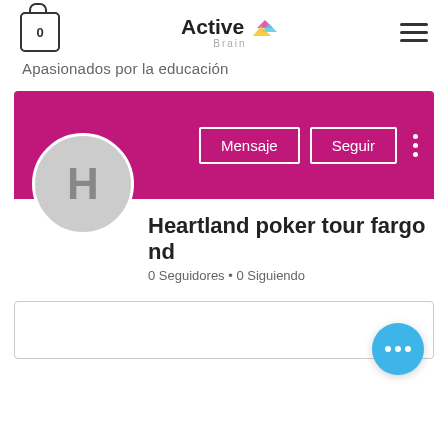Active Brain — Apasionados por la educación
[Figure (screenshot): Active Brain website profile page showing a profile banner in magenta/pink with Mensaje and Seguir buttons, a circular avatar with letter H, profile name 'Heartland poker tour fargo nd', follower stats, and a bottom input box with a blue floating action button]
Heartland poker tour fargo nd
0 Seguidores • 0 Siguiendo